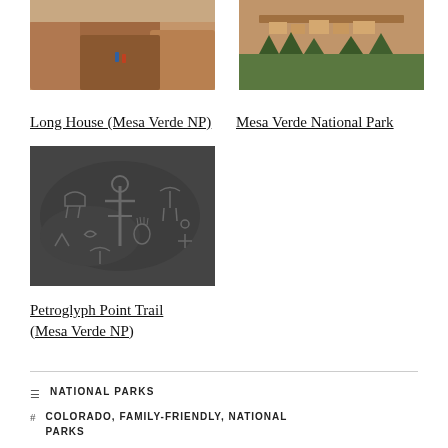[Figure (photo): Photo of rocky canyon cliffs with people hiking at Long House, Mesa Verde NP]
[Figure (photo): Photo of Mesa Verde National Park cliff dwelling ruins with forest below]
Long House (Mesa Verde NP)
Mesa Verde National Park
[Figure (photo): Close-up photo of Petroglyph Point Trail petroglyphs carved on dark rock surface]
Petroglyph Point Trail (Mesa Verde NP)
NATIONAL PARKS
COLORADO, FAMILY-FRIENDLY, NATIONAL PARKS